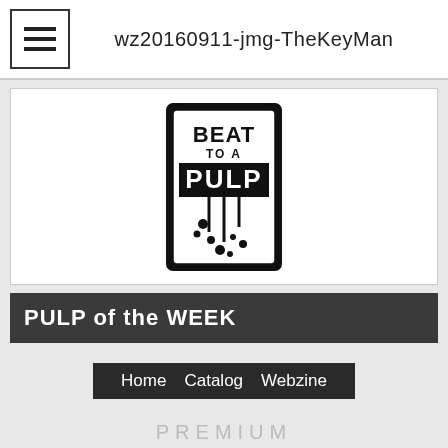wz20160911-jmg-TheKeyMan
[Figure (logo): Beat To A Pulp logo — black and white rectangular badge with dripping blood/ink design and text BEAT TO A PULP]
PULP of the WEEK
Home   Catalog   Webzine
PREMIUM
PULP FICTION
THE KEY MAN